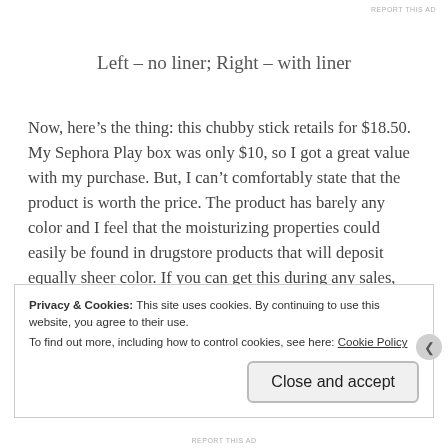REPORT THIS AD
Left – no liner; Right – with liner
Now, here’s the thing: this chubby stick retails for $18.50. My Sephora Play box was only $10, so I got a great value with my purchase. But, I can’t comfortably state that the product is worth the price. The product has barely any color and I feel that the moisturizing properties could easily be found in drugstore products that will deposit equally sheer color. If you can get this during any sales, then go for it. If not, I recommend that you pass.
Privacy & Cookies: This site uses cookies. By continuing to use this website, you agree to their use.
To find out more, including how to control cookies, see here: Cookie Policy
REPORT THIS AD